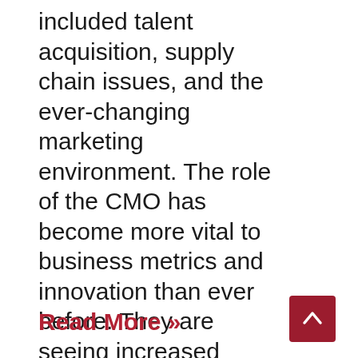included talent acquisition, supply chain issues, and the ever-changing marketing environment. The role of the CMO has become more vital to business metrics and innovation than ever before. They are seeing increased
Read More »